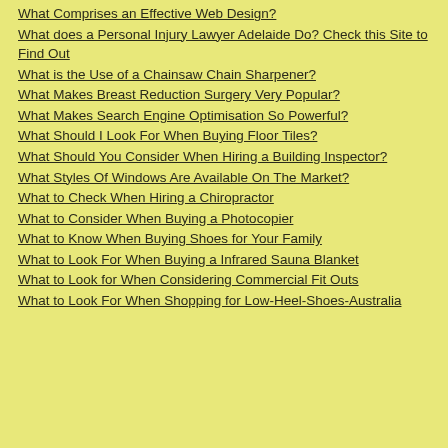What Comprises an Effective Web Design?
What does a Personal Injury Lawyer Adelaide Do? Check this Site to Find Out
What is the Use of a Chainsaw Chain Sharpener?
What Makes Breast Reduction Surgery Very Popular?
What Makes Search Engine Optimisation So Powerful?
What Should I Look For When Buying Floor Tiles?
What Should You Consider When Hiring a Building Inspector?
What Styles Of Windows Are Available On The Market?
What to Check When Hiring a Chiropractor
What to Consider When Buying a Photocopier
What to Know When Buying Shoes for Your Family
What to Look For When Buying a Infrared Sauna Blanket
What to Look for When Considering Commercial Fit Outs
What to Look For When Shopping for Low-Heel-Shoes-Australia